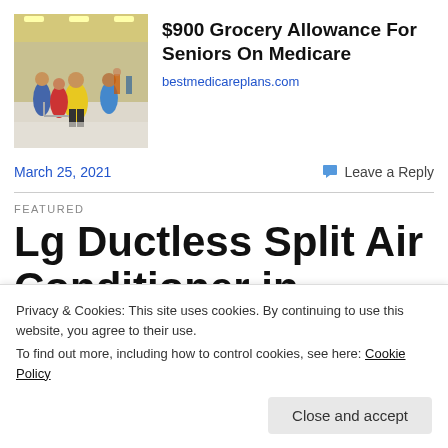[Figure (photo): Photo of people shopping in a grocery store with shopping carts]
$900 Grocery Allowance For Seniors On Medicare
bestmedicareplans.com
March 25, 2021
Leave a Reply
FEATURED
Lg Ductless Split Air Conditioner in Clarksville –
Privacy & Cookies: This site uses cookies. By continuing to use this website, you agree to their use.
To find out more, including how to control cookies, see here: Cookie Policy
Close and accept